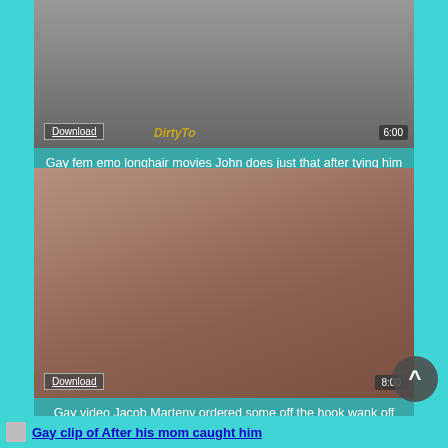[Figure (photo): Video thumbnail showing group of men, with Download button, DirtyTo watermark, and 6:00 duration badge]
Gay fem emo longhair movies John does just that after tying him up and porking him with
[Figure (photo): Video thumbnail of adult content with Download button and 8:00 duration badge]
Gay video Jacob Marteny ordered some off the hook wank off fucktoys to
Gay clip of After his mom caught him